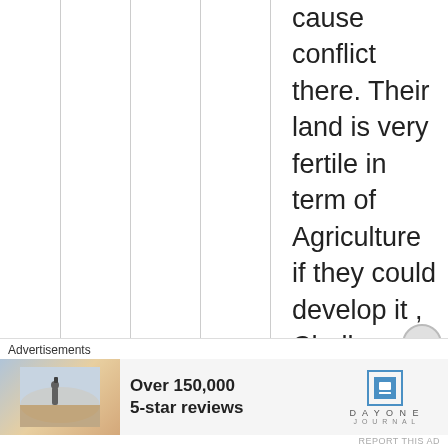cause conflict there. Their land is very fertile in term of Agriculture if they could develop it , Chollo want to be taxes collectors on Dinka land all along the river and their side also. You Nuer people you Know this history , Chollo are wrong , we want them to be part of our counties ,the refuse ,they want Padang to live in the
Advertisements
[Figure (photo): Person holding phone photographing misty landscape]
Over 150,000 5-star reviews
[Figure (logo): Day One Journal logo]